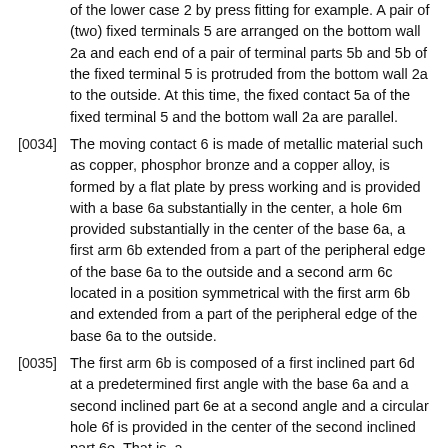of the lower case 2 by press fitting for example. A pair of (two) fixed terminals 5 are arranged on the bottom wall 2a and each end of a pair of terminal parts 5b and 5b of the fixed terminal 5 is protruded from the bottom wall 2a to the outside. At this time, the fixed contact 5a of the fixed terminal 5 and the bottom wall 2a are parallel.
[0034] The moving contact 6 is made of metallic material such as copper, phosphor bronze and a copper alloy, is formed by a flat plate by press working and is provided with a base 6a substantially in the center, a hole 6m provided substantially in the center of the base 6a, a first arm 6b extended from a part of the peripheral edge of the base 6a to the outside and a second arm 6c located in a position symmetrical with the first arm 6b and extended from a part of the peripheral edge of the base 6a to the outside.
[0035] The first arm 6b is composed of a first inclined part 6d at a predetermined first angle with the base 6a and a second inclined part 6e at a second angle and a circular hole 6f is provided in the center of the second inclined part 6e. That is, a